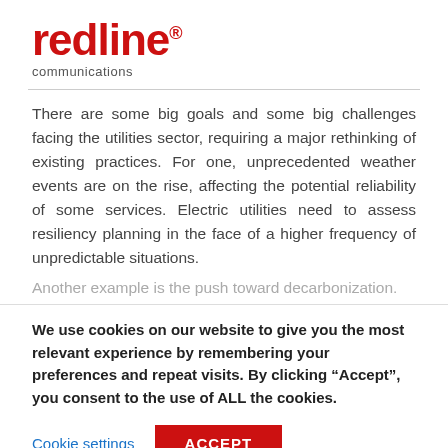[Figure (logo): Redline Communications logo — red bold 'redline' text with registered trademark symbol, and grey 'communications' subtitle]
There are some big goals and some big challenges facing the utilities sector, requiring a major rethinking of existing practices. For one, unprecedented weather events are on the rise, affecting the potential reliability of some services. Electric utilities need to assess resiliency planning in the face of a higher frequency of unpredictable situations.
Another example is the push toward decarbonization.
We use cookies on our website to give you the most relevant experience by remembering your preferences and repeat visits. By clicking “Accept”, you consent to the use of ALL the cookies.